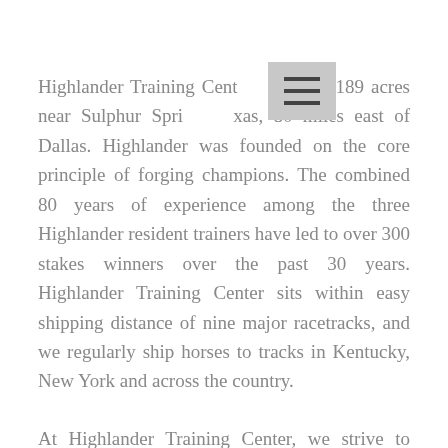Highlander Training Center sits on 189 acres near Sulphur Springs, Texas, 80 miles east of Dallas. Highlander was founded on the core principle of forging champions. The combined 80 years of experience among the three Highlander resident trainers have led to over 300 stakes winners over the past 30 years. Highlander Training Center sits within easy shipping distance of nine major racetracks, and we regularly ship horses to tracks in Kentucky, New York and across the country.
At Highlander Training Center, we strive to produce winning horses through meticulous horsemanship, carefully